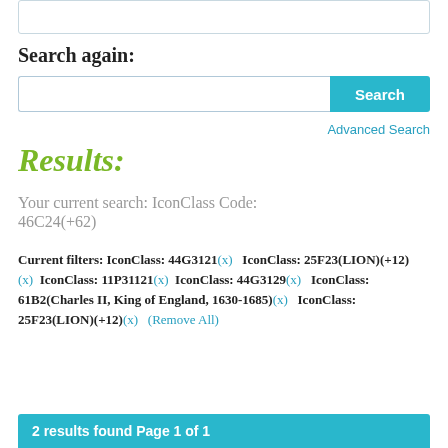Search again:
Search | Advanced Search
Results:
Your current search: IconClass Code: 46C24(+62)
Current filters: IconClass: 44G3121(x)   IconClass: 25F23(LION)(+12)(x)   IconClass: 11P31121(x)   IconClass: 44G3129(x)   IconClass: 61B2(Charles II, King of England, 1630-1685)(x)   IconClass: 25F23(LION)(+12)(x)   (Remove All)
2 results found Page 1 of 1